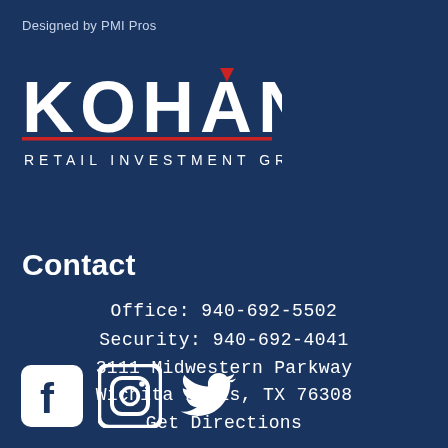Designed by PMI Pros
[Figure (logo): Kohan Retail Investment Group logo — white bold text KOHAN with a red downward triangle above the N, a red horizontal underline, and smaller white spaced text RETAIL INVESTMENT GROUP below]
Contact
Office: 940-692-5502
Security: 940-692-4041
3111 Midwestern Parkway
Wichita Falls, TX 76308
Get Directions
[Figure (illustration): Three white social media icons on dark blue background: Facebook (f in rounded square), Instagram (camera outline in rounded square), Twitter (bird silhouette)]